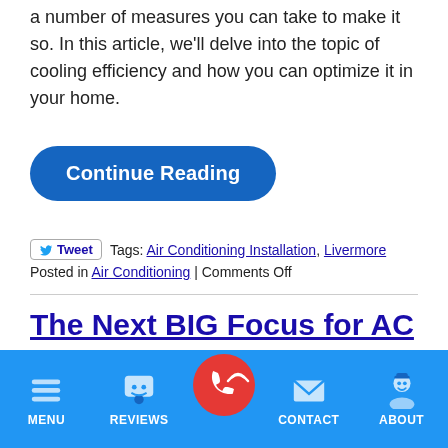a number of measures you can take to make it so. In this article, we'll delve into the topic of cooling efficiency and how you can optimize it in your home.
Continue Reading
Tweet  Tags: Air Conditioning Installation, Livermore
Posted in Air Conditioning | Comments Off
The Next BIG Focus for AC Owners
MENU  REVIEWS  [CALL]  CONTACT  ABOUT